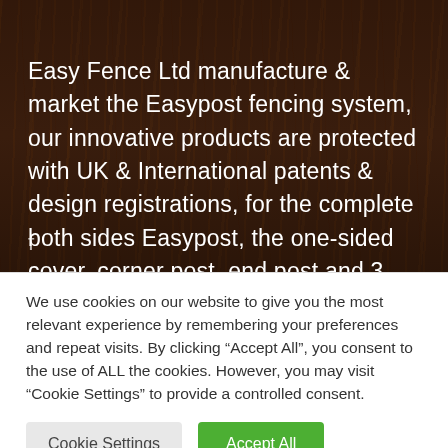Easy Fence Ltd manufacture & market the Easypost fencing system, our innovative products are protected with UK & International patents & design registrations, for the complete both sides Easypost, the one-sided cover, corner post, end post and 3-way post and various other designs not yet launched.
We use cookies on our website to give you the most relevant experience by remembering your preferences and repeat visits. By clicking “Accept All”, you consent to the use of ALL the cookies. However, you may visit “Cookie Settings” to provide a controlled consent.